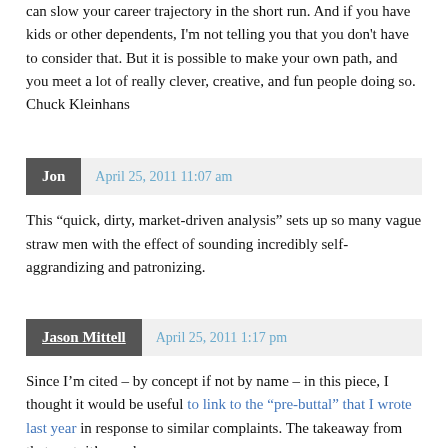can slow your career trajectory in the short run. And if you have kids or other dependents, I'm not telling you that you don't have to consider that. But it is possible to make your own path, and you meet a lot of really clever, creative, and fun people doing so. Chuck Kleinhans
Jon  April 25, 2011 11:07 am
This “quick, dirty, market-driven analysis” sets up so many vague straw men with the effect of sounding incredibly self-aggrandizing and patronizing.
Jason Mittell  April 25, 2011 1:17 pm
Since I’m cited – by concept if not by name – in this piece, I thought it would be useful to link to the “pre-buttal” that I wrote last year in response to similar complaints. The takeaway from that post: it’s much more